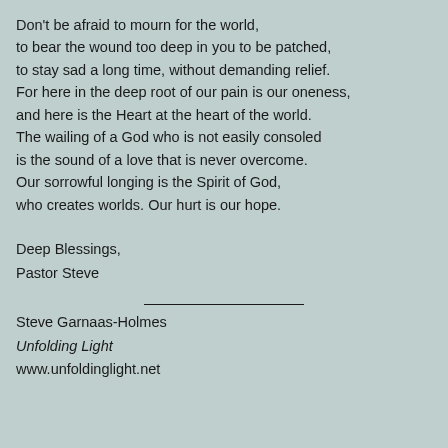Don't be afraid to mourn for the world,
to bear the wound too deep in you to be patched,
to stay sad a long time, without demanding relief.
For here in the deep root of our pain is our oneness,
and here is the Heart at the heart of the world.
The wailing of a God who is not easily consoled
is the sound of a love that is never overcome.
Our sorrowful longing is the Spirit of God,
who creates worlds. Our hurt is our hope.
Deep Blessings,
Pastor Steve
Steve Garnaas-Holmes
Unfolding Light
www.unfoldinglight.net